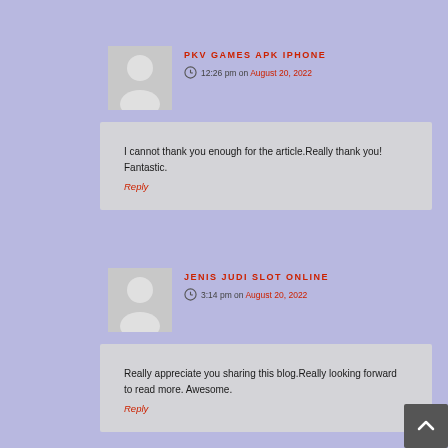PKV GAMES APK IPHONE
12:26 pm on August 20, 2022
I cannot thank you enough for the article.Really thank you! Fantastic.
Reply
JENIS JUDI SLOT ONLINE
3:14 pm on August 20, 2022
Really appreciate you sharing this blog.Really looking forward to read more. Awesome.
Reply